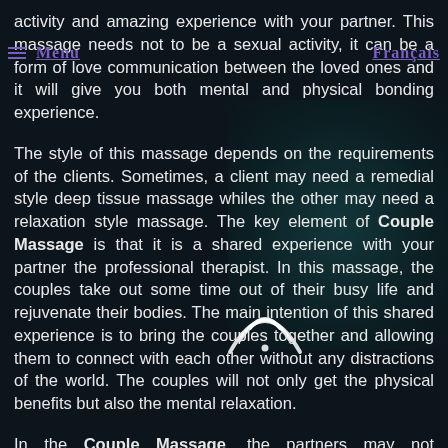Menu    Francais
activity and amazing experience with your partner. This massage needs not to be a sexual activity, it can be a form of love communication between the loved ones and it will give you both mental and physical bonding experience.
The style of this massage depends on the requirements of the clients. Sometimes, a client may need a remedial style deep tissue massage whiles the other may need a relaxation style massage. The key element of Couple Massage is that it is a shared experience with your partner the professional therapist. In this massage, the couples take out some time out of their busy life and rejuvenate their bodies. The main intention of this shared experience is to bring the couples together and allowing them to connect with each other without any distractions of the world. The couples will not only get the physical benefits but also the mental relaxation.
In the Couple Massage, the partners may not necessarily be the Husband & Wife but they can be Girlfriend & Boyfriend. Most of the men find that after having a couple massage sessions they will avoid having a massage alone on their own and will book a